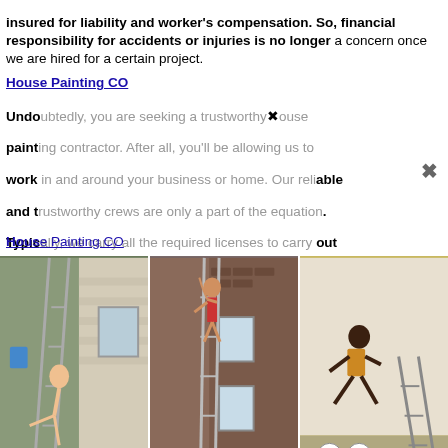insured for liability and worker's compensation. So, financial responsibility for accidents or injuries is no longer a concern once we are hired for a certain project.
House Painting CO
Undoubtedly, you are seeking a trustworthy house painting contractor. After all, you'll be allowing us to work in and around your business or home. Our reliable and trustworthy crews are only a part of the equation. Typically, we carry all the required licenses to carry out our duties in any area we service. Our company is well-insured for liability and worker's compensation. So, financial responsibility for accidents or injuries is no longer a concern once we are hired for a certain project.
House Painting CO
[Figure (photo): Three photos showing people on ladders painting houses]
Certainly, and exterior...and experience...whether you're...the painting...Painters...an eye for detail. Home Painters
Because it is next to impossible to find out information about local painting contractors on the Internet, the adage "talk to neighbors" applies here. Some painting contractors display signs on the lawns of houses they are working on, but you